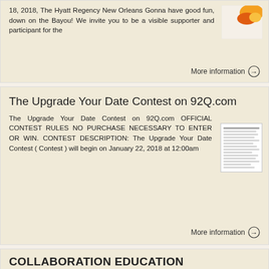18, 2018, The Hyatt Regency New Orleans Gonna have good fun, down on the Bayou! We invite you to be a visible supporter and participant for the
More information →
The Upgrade Your Date Contest on 92Q.com
The Upgrade Your Date Contest on 92Q.com OFFICIAL CONTEST RULES NO PURCHASE NECESSARY TO ENTER OR WIN. CONTEST DESCRIPTION: The Upgrade Your Date Contest ( Contest ) will begin on January 22, 2018 at 12:00am
More information →
COLLABORATION EDUCATION
San Antonio, Texas, 55th Annual NAERC...